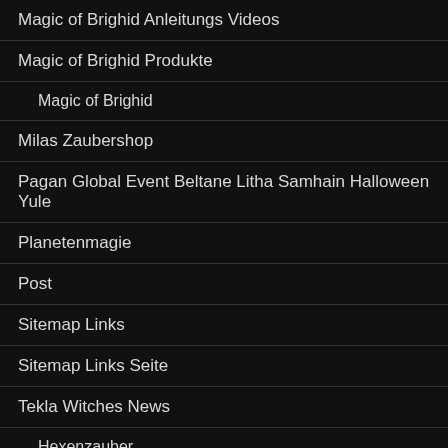Magic of Brighid Anleitungs Videos
Magic of Brighid Produkte
Magic of Brighid
Milas Zaubershop
Pagan Global Event Beltane Litha Samhain Halloween Yule
Planetenmagie
Post
Sitemap Links
Sitemap Links Seite
Tekla Witches News
Hexenzauber
Parfum de voiture avec des huiles essentielles naturelles
Über